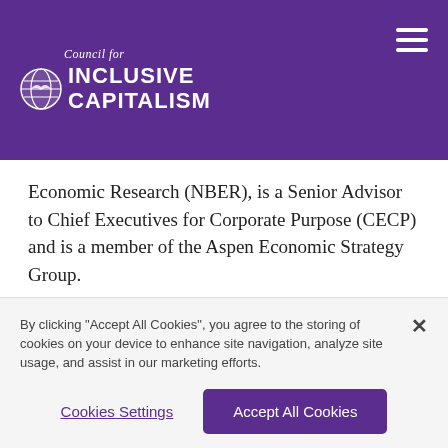[Figure (logo): Council for Inclusive Capitalism logo with globe icon, white text on purple background, hamburger menu icon top right]
Economic Research (NBER), is a Senior Advisor to Chief Executives for Corporate Purpose (CECP) and is a member of the Aspen Economic Strategy Group.
Mark also sits on the Board of Trustees for the United States Council for International Business
By clicking "Accept All Cookies", you agree to the storing of cookies on your device to enhance site navigation, analyze site usage, and assist in our marketing efforts.
Cookies Settings
Accept All Cookies